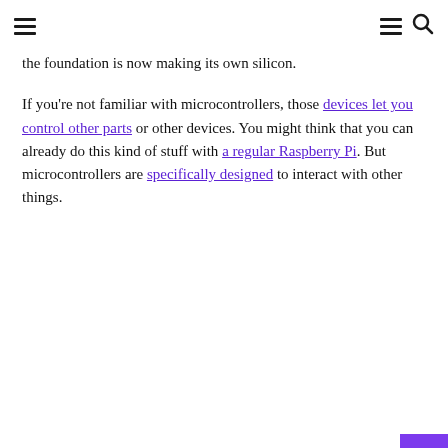≡  ≡ 🔍
the foundation is now making its own silicon.
If you're not familiar with microcontrollers, those devices let you control other parts or other devices. You might think that you can already do this kind of stuff with a regular Raspberry Pi. But microcontrollers are specifically designed to interact with other things.